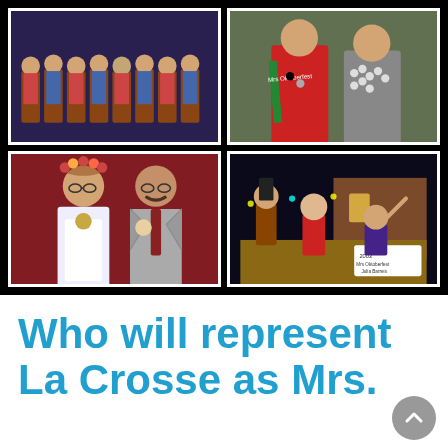[Figure (photo): Four-photo grid on black background. Top-left: group of women in traditional German/Bavarian dirndl costumes seated in a row. Top-right: woman in red dirndl with sash and man in gray suit with many pins/medals. Bottom-left: woman in white dirndl with floral crown and man in gray suit with tie, posing together in front of red curtain. Bottom-right: nighttime parade float scene with people in festive costumes, sign reading '2003 Mrs Oktoberfest Julia Barreis'.]
Who will represent La Crosse as Mrs. Oktoberfest?